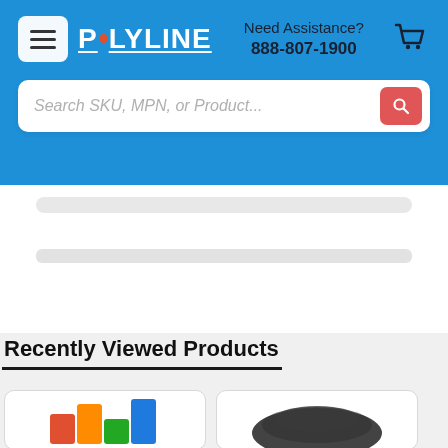POLYLINE | Need Assistance? 888-807-1900
Search SKU, MPN, or Product...
Recently Viewed Products
[Figure (photo): Two product thumbnail images partially visible at bottom of page]
[Figure (photo): Second product thumbnail image partially visible at bottom right]